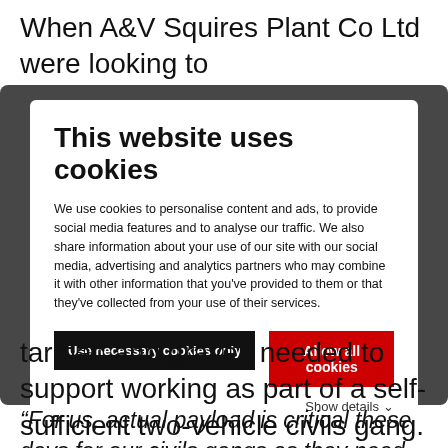When A&V Squires Plant Co Ltd were looking to
This website uses cookies
We use cookies to personalise content and ads, to provide social media features and to analyse our traffic. We also share information about your use of our site with our social media, advertising and analytics partners who may combine it with other information that you've provided to them or that they've collected from your use of their services.
Use necessary cookies only
Allow all cookies
Show details
tarmac and gravel, needed to support working as part of a self-sufficient two-vehicle civils gang.
“For us, actual payload is critical these days for our civils gangs as they need to operate as efficiently as possible. We were aware of the Isuzu reputation